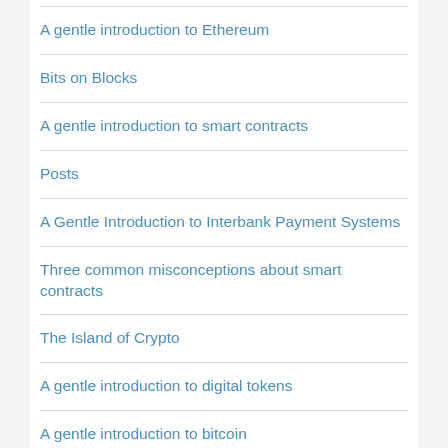A gentle introduction to Ethereum
Bits on Blocks
A gentle introduction to smart contracts
Posts
A Gentle Introduction to Interbank Payment Systems
Three common misconceptions about smart contracts
The Island of Crypto
A gentle introduction to digital tokens
A gentle introduction to bitcoin